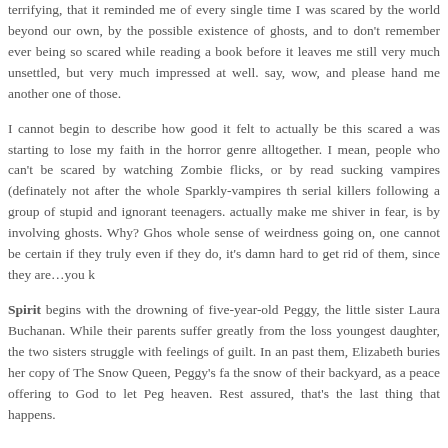terrifying, that it reminded me of every single time I was scared by the world beyond our own, by the possible existence of ghosts, and to don't remember ever being so scared while reading a book before it leaves me still very much unsettled, but very much impressed at well. say, wow, and please hand me another one of those.
I cannot begin to describe how good it felt to actually be this scared a was starting to lose my faith in the horror genre alltogether. I mean, people who can't be scared by watching Zombie flicks, or by read sucking vampires (definately not after the whole Sparkly-vampires th serial killers following a group of stupid and ignorant teenagers. actually make me shiver in fear, is by involving ghosts. Why? Ghos whole sense of weirdness going on, one cannot be certain if they truly even if they do, it's damn hard to get rid of them, since they are…you k
Spirit begins with the drowning of five-year-old Peggy, the little sister Laura Buchanan. While their parents suffer greatly from the loss youngest daughter, the two sisters struggle with feelings of guilt. In an past them, Elizabeth buries her copy of The Snow Queen, Peggy's fa the snow of their backyard, as a peace offering to God to let Peg heaven. Rest assured, that's the last thing that happens.